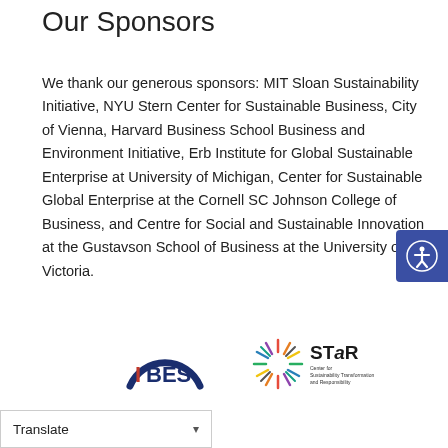Our Sponsors
We thank our generous sponsors: MIT Sloan Sustainability Initiative, NYU Stern Center for Sustainable Business, City of Vienna, Harvard Business School Business and Environment Initiative, Erb Institute for Global Sustainable Enterprise at University of Michigan, Center for Sustainable Global Enterprise at the Cornell SC Johnson College of Business, and Centre for Social and Sustainable Innovation at the Gustavson School of Business at the University of Victoria.
[Figure (logo): IBES logo — semicircle arc in dark blue with 'IBES' text in red and dark blue lettering]
[Figure (logo): STaR Center for Sustainability Transformation and Responsibility logo — starburst/snowflake in multicolor with STaR text and subtitle]
Translate